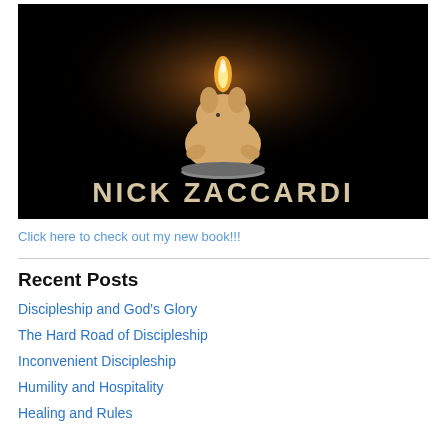[Figure (photo): Dark background photo showing a candle shaped like a small animal/rabbit with a flame burning on top, and the text 'NICK ZACCARDI' in large beige/cream letters on the black background below the candle.]
Click here to check out my new book!!!
Recent Posts
Discipleship and God’s Glory
The Hard Road of Discipleship
Inconvenient Discipleship
Humility and Hospitality
Healing and Rules